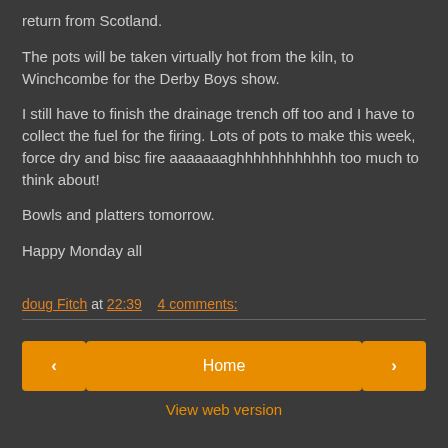return from Scotland.
The pots will be taken virtually hot from the kiln, to Winchcombe for the Derby Boys show.
I still have to finish the drainage trench off too and I have to collect the fuel for the firing. Lots of pots to make this week, force dry and bisc fire aaaaaaaghhhhhhhhhhhh too much to think about!
Bowls and platters tomorrow.
Happy Monday all
doug Fitch at 22:39    4 comments:
‹    Home    ›
View web version